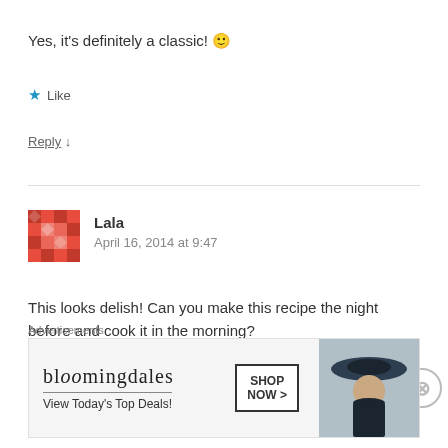Yes, it's definitely a classic! 🙂
★ Like
Reply ↓
Lala
April 16, 2014 at 9:47
This looks delish! Can you make this recipe the night before and cook it in the morning?
★ Like
[Figure (other): Bloomingdale's advertisement banner — 'View Today's Top Deals!' with 'SHOP NOW >' button and image of woman in hat]